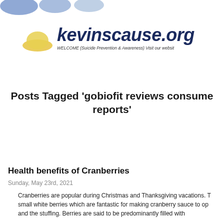[Figure (logo): Three blue blob shapes partially visible at top left corner of page]
[Figure (logo): Yellow dome/blob shape forming part of kevinscause.org logo icon, with italic bold dark navy text reading 'kevinscause.org' and subtitle 'WELCOME (Suicide Prevention & Awareness) Visit our website']
Posts Tagged ‘gobiofit reviews consumer reports’
Health benefits of Cranberries
Sunday, May 23rd, 2021
Cranberries are popular during Christmas and Thanksgiving vacations. T small white berries which are fantastic for making cranberry sauce to op and the stuffing. Berries are said to be predominantly filled with